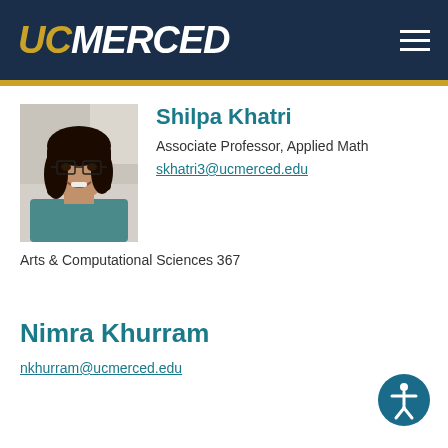UC MERCED
[Figure (photo): Profile photo of Shilpa Khatri, a woman with glasses and dark hair, smiling]
Shilpa Khatri
Associate Professor, Applied Math
skhatri3@ucmerced.edu
Arts & Computational Sciences 367
Nimra Khurram
nkhurram@ucmerced.edu